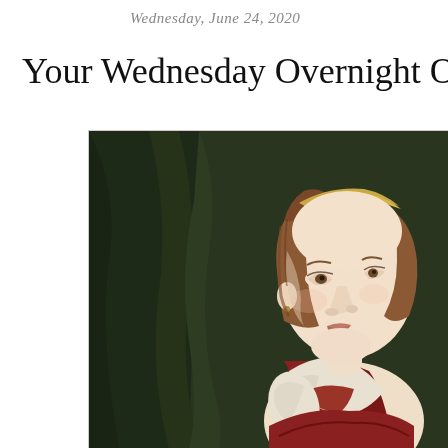Wednesday, June 24, 2020
Your Wednesday Overnight O
[Figure (photo): Classical painting of a young woman with pale skin, reddish-brown hair with a gold headband, wearing a white and red dress, posed against a dark green draped curtain background. Renaissance or Baroque style portrait.]